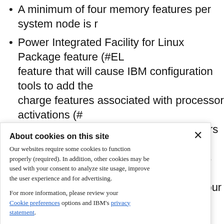A minimum of four memory features per system node is r...
Power Integrated Facility for Linux Package feature (#EL... feature that will cause IBM configuration tools to add the charge features associated with processor activations (# activations (#ELJH). This feature delivers a quantity of fo activations, a quantity of thirty-two 1 GB memory activati four PowerVM® for Linux licenses for four processor cor...
About cookies on this site
Our websites require some cookies to function properly (required). In addition, other cookies may be used with your consent to analyze site usage, improve the user experience and for advertising.

For more information, please review your Cookie preferences options and IBM's privacy statement.